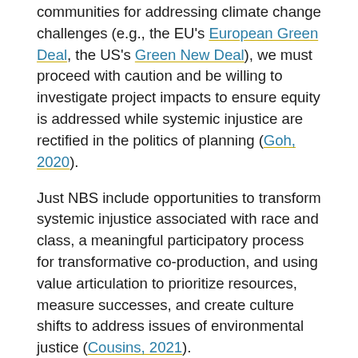communities for addressing climate change challenges (e.g., the EU's European Green Deal, the US's Green New Deal), we must proceed with caution and be willing to investigate project impacts to ensure equity is addressed while systemic injustice are rectified in the politics of planning (Goh, 2020).
Just NBS include opportunities to transform systemic injustice associated with race and class, a meaningful participatory process for transformative co-production, and using value articulation to prioritize resources, measure successes, and create culture shifts to address issues of environmental justice (Cousins, 2021).
Nature-based Solutions for Urban Resilience in the Anthropocene (NATURA) is a network of scholars and practitioners in Africa, the Asia-Pacific region, Europe, North America, and Latin America that aim to understand the interconnected feedback between social, ecological, and technological systems on NBS.